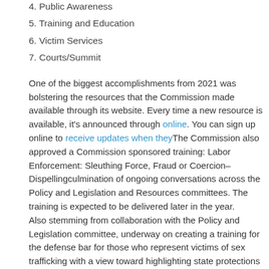4. Public Awareness
5. Training and Education
6. Victim Services
7. Courts/Summit
One of the biggest accomplishments from 2021 was bolstering the resources that the Commission made available through its website. Every time a new resource is available, it's announced through [online]. You can sign up online to receive updates when they [are posted]. The Commission also approved a Commission sponsored training: Labor Enforcement: Sleuthing Force, Fraud or Coercion–Dispelling [myths], a culmination of ongoing conversations across the Policy and [Legislation] and Resources committees. The training is expected to be delivered later in the year. Also stemming from collaboration with the Policy and Legislation [committee], underway on creating a training for the defense bar for those who represent victims of sex trafficking with a view toward highlighting state protections for trafficking victims.
More information on the Human Trafficking Commission and [related resources]